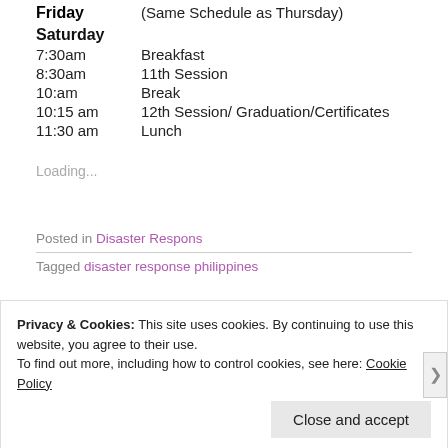Friday  (Same Schedule as Thursday)
Saturday
7:30am  Breakfast
8:30am  11th Session
10:am  Break
10:15 am  12th Session/ Graduation/Certificates
11:30 am  Lunch
Loading...
Posted in Disaster Respons
Tagged disaster response philippines
Privacy & Cookies: This site uses cookies. By continuing to use this website, you agree to their use.
To find out more, including how to control cookies, see here: Cookie Policy